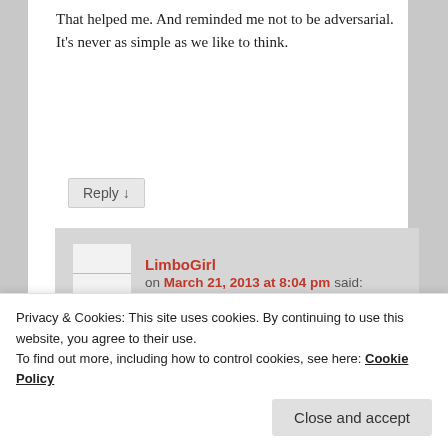That helped me. And reminded me not to be adversarial. It's never as simple as we like to think.
Reply ↓
LimboGirl on March 21, 2013 at 8:04 pm said:
Good therapist! All too often they are more inclined to validate rather than challenge. Granted, some people need validation, I prefer to be challenged and encouraged to
Privacy & Cookies: This site uses cookies. By continuing to use this website, you agree to their use.
To find out more, including how to control cookies, see here: Cookie Policy
Close and accept